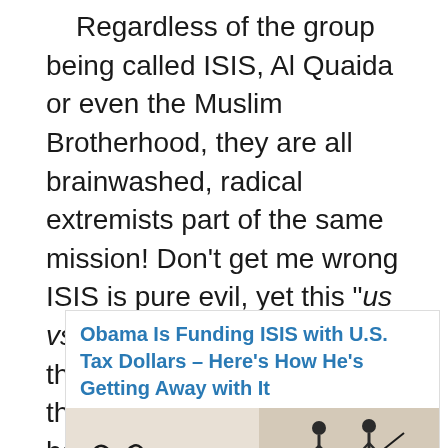Regardless of the group being called ISIS, Al Quaida or even the Muslim Brotherhood, they are all brainwashed, radical extremists part of the same mission! Don't get me wrong ISIS is pure evil, yet this "us vs. them" mentality is what the elite are expecting from the people. Look, not only has ISIS been around for the last 100 years or so going by different names but this same group is actually being funded by the United States.
[Figure (screenshot): Article preview box with headline 'Obama Is Funding ISIS with U.S. Tax Dollars – Here's How He's Getting Away with It' in blue, and a partial image below showing a handwritten signature on the left and silhouettes on the right against a light background.]